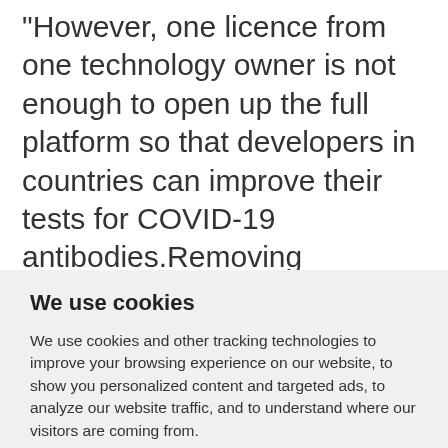"However, one licence from one technology owner is not enough to open up the full platform so that developers in countries can improve their tests for COVID-19 antibodies.Removing intellectual property barriers on all key technology components, and facilitating open sharing, pooling and transferring of
We use cookies
We use cookies and other tracking technologies to improve your browsing experience on our website, to show you personalized content and targeted ads, to analyze our website traffic, and to understand where our visitors are coming from.